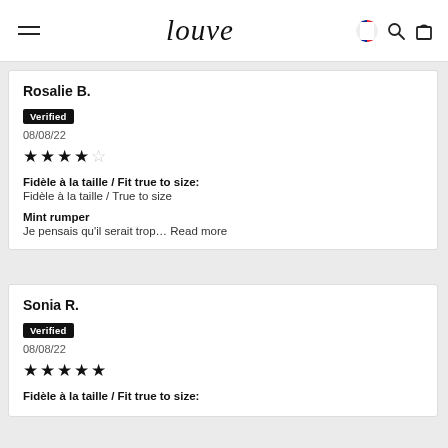louve (navigation header with hamburger menu, flag icon, search icon, cart icon)
Rosalie B.
Verified
08/08/22
★★★★☆
Fidèle à la taille / Fit true to size: Fidèle à la taille / True to size
Mint rumper
Je pensais qu'il serait trop... Read more
Sonia R.
Verified
08/08/22
★★★★★
Fidèle à la taille / Fit true to size: